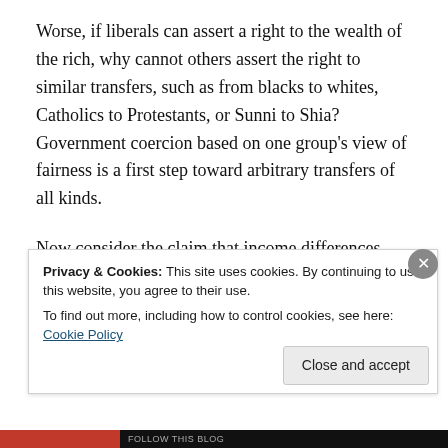Worse, if liberals can assert a right to the wealth of the rich, why cannot others assert the right to similar transfers, such as from blacks to whites, Catholics to Protestants, or Sunni to Shia? Government coercion based on one group's view of fairness is a first step toward arbitrary transfers of all kinds.
Now consider the claim that income differences result from illegal, unethical, or otherwise inappropriate behavior. This claim has an element of truth: some wealth results from
Privacy & Cookies: This site uses cookies. By continuing to use this website, you agree to their use.
To find out more, including how to control cookies, see here: Cookie Policy
Close and accept